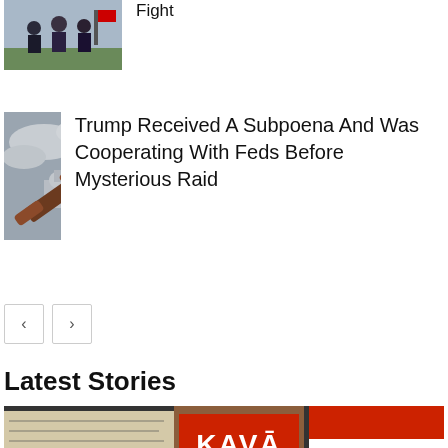[Figure (photo): Group of people standing outdoors]
Fight
[Figure (photo): Gavel in front of Capitol building]
Trump Received A Subpoena And Was Cooperating With Feds Before Mysterious Raid
< >
Latest Stories
[Figure (photo): KAVA protest sign image]